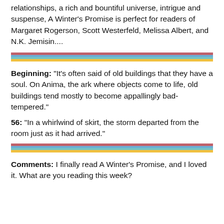relationships, a rich and bountiful universe, intrigue and suspense, A Winter's Promise is perfect for readers of Margaret Rogerson, Scott Westerfeld, Melissa Albert, and N.K. Jemisin....
[Figure (other): Decorative horizontal rainbow divider bar with stripes of pink/red, blue, teal, and yellow]
Beginning: "It's often said of old buildings that they have a soul. On Anima, the ark where objects come to life, old buildings tend mostly to become appallingly bad-tempered."
56: "In a whirlwind of skirt, the storm departed from the room just as it had arrived."
[Figure (other): Decorative horizontal rainbow divider bar with stripes of pink/red, blue, teal, and yellow]
Comments: I finally read A Winter's Promise, and I loved it. What are you reading this week?